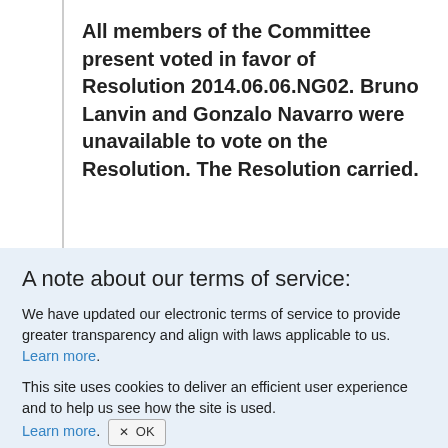All members of the Committee present voted in favor of Resolution 2014.06.06.NG02. Bruno Lanvin and Gonzalo Navarro were unavailable to vote on the Resolution. The Resolution carried.
A note about our terms of service:
We have updated our electronic terms of service to provide greater transparency and align with laws applicable to us. Learn more.
This site uses cookies to deliver an efficient user experience and to help us see how the site is used. Learn more. OK